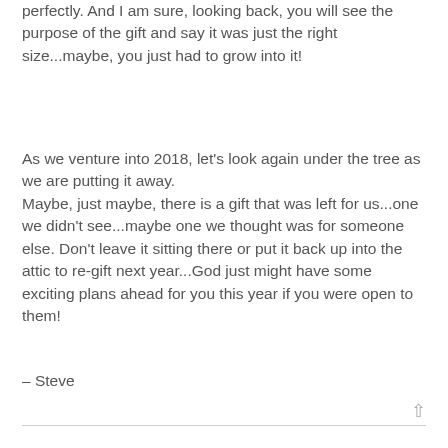perfectly. And I am sure, looking back, you will see the purpose of the gift and say it was just the right size...maybe, you just had to grow into it!
As we venture into 2018, let's look again under the tree as we are putting it away. Maybe, just maybe, there is a gift that was left for us...one we didn't see...maybe one we thought was for someone else. Don't leave it sitting there or put it back up into the attic to re-gift next year...God just might have some exciting plans ahead for you this year if you were open to them!
– Steve